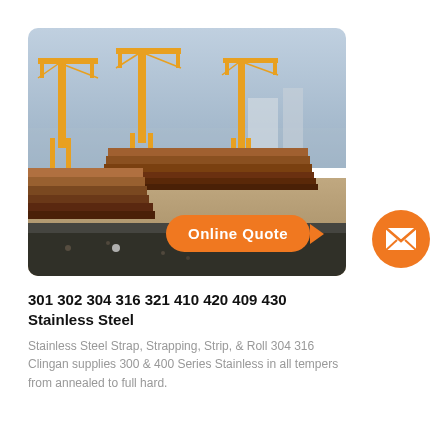[Figure (photo): Industrial yard with stacks of steel plates/sheets on gravel ground, and large yellow gantry cranes in the background under a hazy sky. An orange 'Online Quote' speech bubble with arrow pointing to an orange circle mail icon overlays the bottom-right of the photo.]
301 302 304 316 321 410 420 409 430 Stainless Steel
Stainless Steel Strap, Strapping, Strip, & Roll 304 316 Clingan supplies 300 & 400 Series Stainless in all tempers from annealed to full hard.